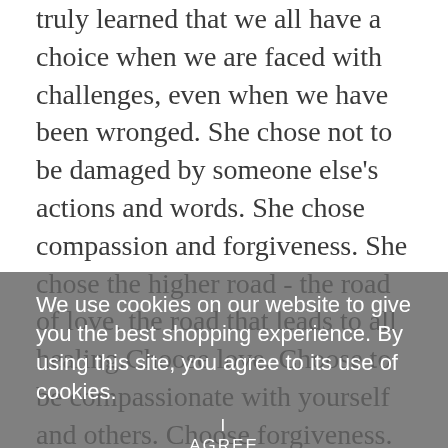truly learned that we all have a choice when we are faced with challenges, even when we have been wronged.  She chose not to be damaged by someone else's actions and words.  She chose compassion and forgiveness.  She chose the higher road - the road of love, the road that leads to all healing.Choose love.  Choose to be compassionate with yourself and others.  Choose forgiveness.  Forgive yourself and others.  Free yourself of being a victim of your own (or someone else's) thoughts and beliefs.  If you need to get it out - it's okay; I did too.  I still do, occasionally.  We are all divine works in progress.  Forgiveness, compassion and love keep us on our divine path.
We use cookies on our website to give you the best shopping experience. By using this site, you agree to its use of cookies.
I AGREE